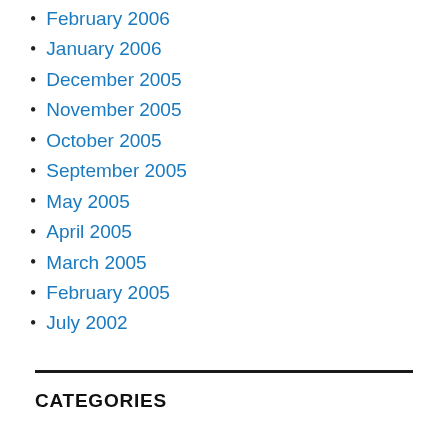February 2006
January 2006
December 2005
November 2005
October 2005
September 2005
May 2005
April 2005
March 2005
February 2005
July 2002
CATEGORIES